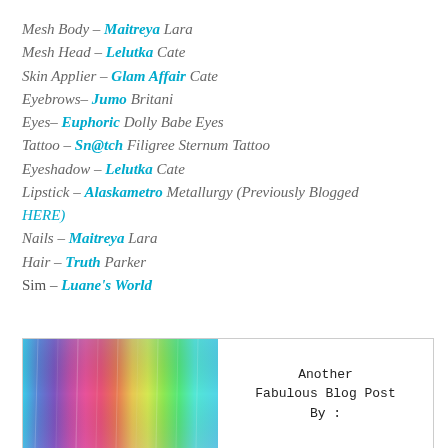Mesh Body – Maitreya Lara
Mesh Head – Lelutka Cate
Skin Applier – Glam Affair Cate
Eyebrows– Jumo Britani
Eyes– Euphoric Dolly Babe Eyes
Tattoo – Sn@tch Filigree Sternum Tattoo
Eyeshadow – Lelutka Cate
Lipstick – Alaskametro Metallurgy (Previously Blogged HERE)
Nails – Maitreya Lara
Hair – Truth Parker
Sim – Luane's World
[Figure (infographic): Banner image with rainbow spectrum gradient on the left half and text 'Another Fabulous Blog Post By :' on the right half, bordered box]